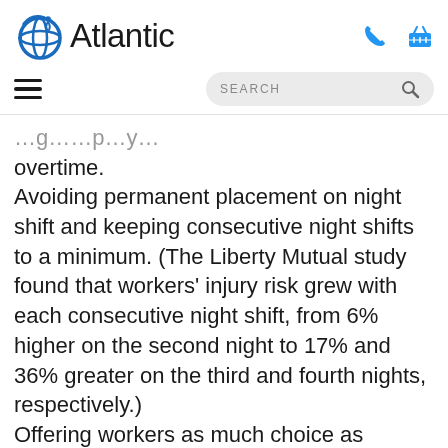Atlantic
overtime.
Avoiding permanent placement on night shift and keeping consecutive night shifts to a minimum. (The Liberty Mutual study found that workers' injury risk grew with each consecutive night shift, from 6% higher on the second night to 17% and 36% greater on the third and fourth nights, respectively.)
Offering workers as much choice as possible. “If you need the work done but it doesn’t matter if someone starts at 10 p.m. versus 2 a.m., give the worker the flexibility to